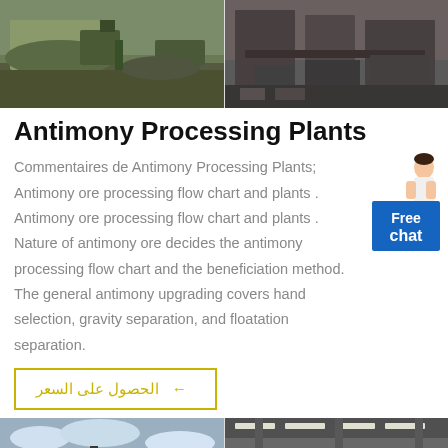[Figure (photo): Two photos at top: left shows outdoor mining/crushing plant with aggregate pile and green machinery; right shows indoor industrial machinery/crusher equipment.]
Antimony Processing Plants
Commentaires de Antimony Processing Plants; Antimony ore processing flow chart and plants . Antimony ore processing flow chart and plants . Nature of antimony ore decides the antimony processing flow chart and the beneficiation method. The general antimony upgrading covers hand selection, gravity separation, and floatation separation.
[Figure (illustration): Free chat widget with lady illustration and blue chat button labeled 'Free chat']
→  الحصول على السعر
[Figure (photo): Two photos at bottom: left shows outdoor mining site with dark earth mounds and machinery; right shows large indoor industrial facility with conveyors and processing equipment.]